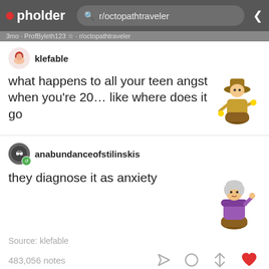pholder — r/octopathtraveler
klefable
what happens to all your teen angst when you're 20… like where does it go
anabundanceofstilinskis
they diagnose it as anxiety
Source: klefable
483,056 notes
My best friend discovered fast travel after 60 hours of g
1yr · slay_fresh · r/octopathtraveler
THERE'S FAST TRAVEL!?  01:28